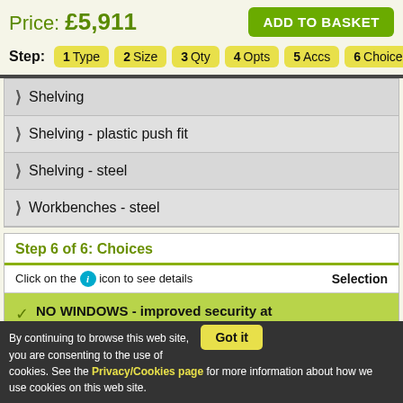Price: £5,911
ADD TO BASKET
Step: 1 Type  2 Size  3 Qty  4 Opts  5 Accs  6 Choices
Shelving
Shelving - plastic push fit
Shelving - steel
Workbenches - steel
Step 6 of 6: Choices
Click on the i icon to see details   Selection
NO WINDOWS - improved security at no extra cost
Available with no windows Selectable option - included in the price
By continuing to browse this web site, you are consenting to the use of cookies. See the Privacy/Cookies page for more information about how we use cookies on this web site.